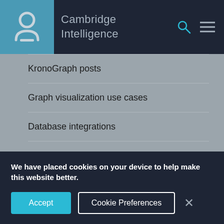Cambridge Intelligence
KronoGraph posts
Graph visualization use cases
Database integrations
Graph visualization best practice
Our company news
We have placed cookies on your device to help make this website better.
Accept
Cookie Preferences